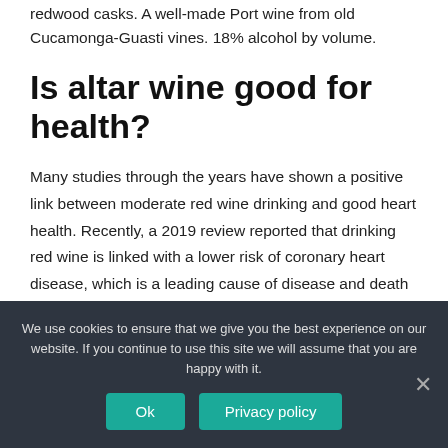redwood casks. A well-made Port wine from old Cucamonga-Guasti vines. 18% alcohol by volume.
Is altar wine good for health?
Many studies through the years have shown a positive link between moderate red wine drinking and good heart health. Recently, a 2019 review reported that drinking red wine is linked with a lower risk of coronary heart disease, which is a leading cause of disease and death in the United
We use cookies to ensure that we give you the best experience on our website. If you continue to use this site we will assume that you are happy with it.